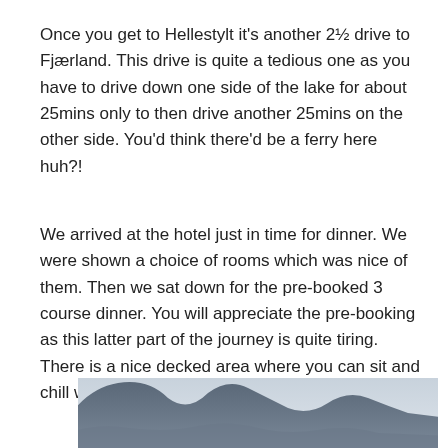Once you get to Hellestylt it's another 2½ drive to Fjærland. This drive is quite a tedious one as you have to drive down one side of the lake for about 25mins only to then drive another 25mins on the other side. You'd think there'd be a ferry here huh?!
We arrived at the hotel just in time for dinner. We were shown a choice of rooms which was nice of them. Then we sat down for the pre-booked 3 course dinner. You will appreciate the pre-booking as this latter part of the journey is quite tiring. There is a nice decked area where you can sit and chill with a drink over-looking the amazing fjords.
[Figure (photo): Partially visible landscape photo showing mountains and misty sky, cropped at bottom of page]